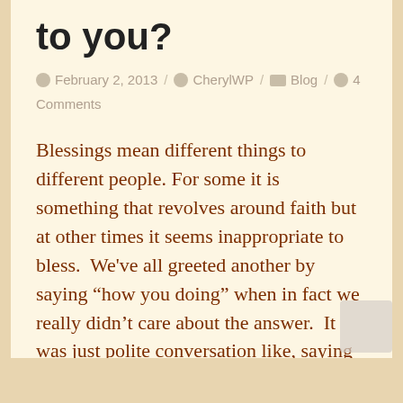to you?
February 2, 2013  /  CherylWP  /  Blog  /  4 Comments
Blessings mean different things to different people. For some it is something that revolves around faith but at other times it seems inappropriate to bless.  We've all greeted another by saying “how you doing” when in fact we really didn’t care about the answer.  It was just polite conversation like, saying “bless you” when someone […]
READ MORE